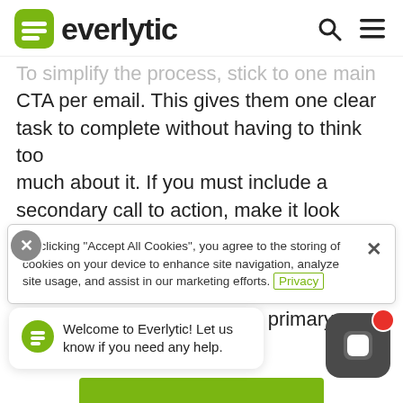[Figure (logo): Everlytic logo with green shield icon and dark text]
To simplify the process, stick to one main CTA per email. This gives them one clear task to complete without having to think too much about it. If you must include a secondary call to action, make it look different, either by changing the button colour, including it as hyperlinked text, or by laying it out differently to the primary one.
By clicking “Accept All Cookies”, you agree to the storing of cookies on your device to enhance site navigation, analyze site usage, and assist in our marketing efforts. Privacy
Welcome to Everlytic! Let us know if you need any help.